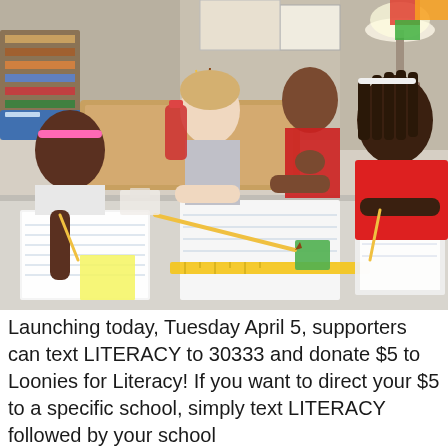[Figure (photo): Four school-aged girls working together at a table covered with notebooks, papers, pencils, and school supplies. Three girls are leaning over the table looking at work; one girl on the left has a pink headband. The setting appears to be a classroom with shelves, a lamp, and colorful materials in the background.]
Launching today, Tuesday April 5, supporters can text LITERACY to 30333 and donate $5 to Loonies for Literacy! If you want to direct your $5 to a specific school, simply text LITERACY followed by your school